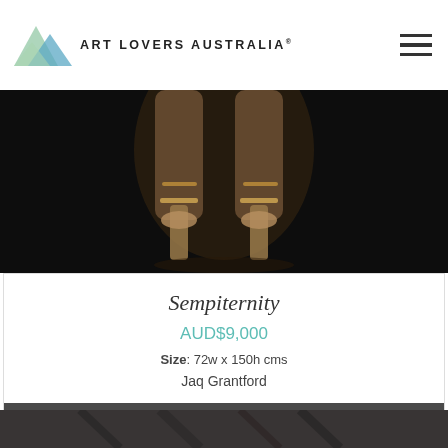Art Lovers Australia
[Figure (photo): Close-up photograph of legs wearing gold strappy high heels against a dark/black background]
Sempiternity
AUD$9,000
Size: 72w x 150h cms
Jaq Grantford
BUY NOW
[Figure (photo): Partial view of a second artwork image at the bottom of the page showing dark tones]